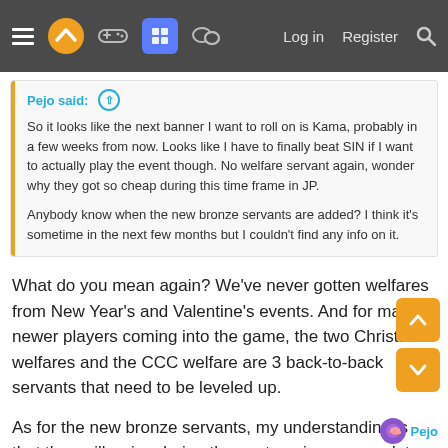Navigation bar with hamburger menu, logo, game controller icon, board icon, chat icon, Log in, Register, Search
Pejo said: ↑
So it looks like the next banner I want to roll on is Kama, probably in a few weeks from now. Looks like I have to finally beat SIN if I want to actually play the event though. No welfare servant again, wonder why they got so cheap during this time frame in JP.

Anybody know when the new bronze servants are added? I think it's sometime in the next few months but I couldn't find any info on it.
What do you mean again? We've never gotten welfares from New Year's and Valentine's events. And for many newer players coming into the game, the two Christmas welfares and the CCC welfare are 3 back-to-back servants that need to be leveled up.

As for the new bronze servants, my understanding is that they will arrive during the next anniversary update.
Pejo